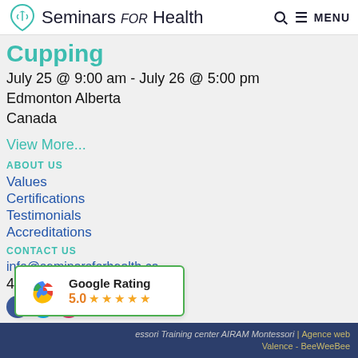Seminars FOR Health
Cupping
July 25 @ 9:00 am - July 26 @ 5:00 pm
Edmonton Alberta
Canada
View More...
ABOUT US
Values
Certifications
Testimonials
Accreditations
CONTACT US
info@seminarsforhealth.ca
403-607-9389
[Figure (infographic): Google Rating widget showing 5.0 stars with Google G logo]
essori Training center AIRAM Montessori | Agence web Valence - BeeWeeBee